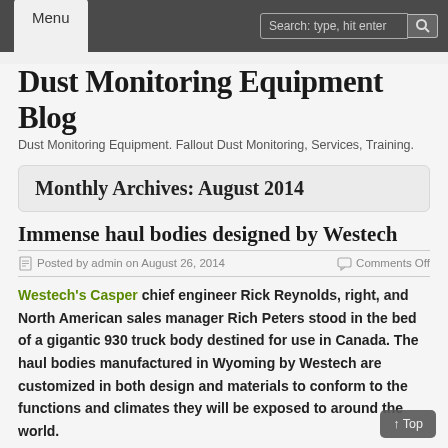Menu | Search: type, hit enter
Dust Monitoring Equipment Blog
Dust Monitoring Equipment. Fallout Dust Monitoring, Services, Training.
Monthly Archives: August 2014
Immense haul bodies designed by Westech
Posted by admin on August 26, 2014   Comments Off
Westech's Casper chief engineer Rick Reynolds, right, and North American sales manager Rich Peters stood in the bed of a gigantic 930 truck body destined for use in Canada. The haul bodies manufactured in Wyoming by Westech are customized in both design and materials to conform to the functions and climates they will be exposed to around the world.